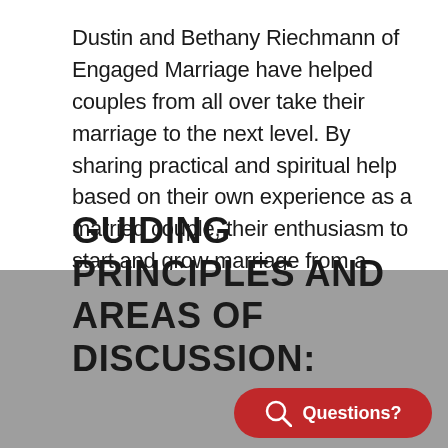Dustin and Bethany Riechmann of Engaged Marriage have helped couples from all over take their marriage to the next level. By sharing practical and spiritual help based on their own experience as a married couple, their enthusiasm to start and grow marriage from a strong and healthy foundation is undoubtedly uplifting and empowering.
GUIDING PRINCIPLES AND AREAS OF DISCUSSION: